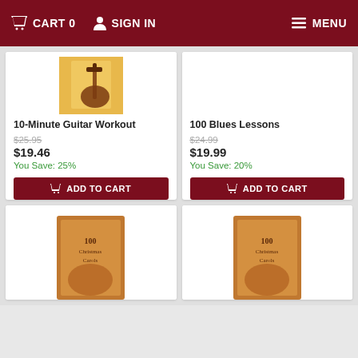CART 0   SIGN IN   MENU
10-Minute Guitar Workout
$25.95
$19.46
You Save: 25%
ADD TO CART
100 Blues Lessons
$24.99
$19.99
You Save: 20%
ADD TO CART
[Figure (photo): Book cover partial - 100 Christmas Carols (left)]
[Figure (photo): Book cover partial - 100 Christmas Carols (right)]